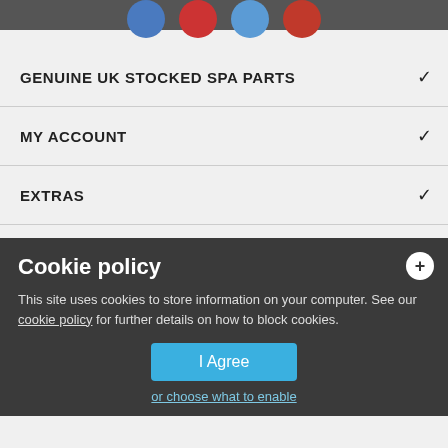Social media icons top bar
GENUINE UK STOCKED SPA PARTS
MY ACCOUNT
EXTRAS
INFORMATION
CONTACT US
Cookie policy
This site uses cookies to store information on your computer. See our cookie policy for further details on how to block cookies.
© 2012-2021 www.hottubparts.co.uk, Love Spas Ltd - Hot Tub Parts, Spa Spa ...les.
I Agree
or choose what to enable